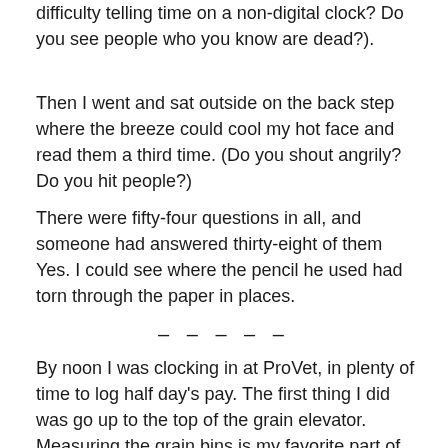difficulty telling time on a non-digital clock?  Do you see people who you know are dead?).
Then I went and sat outside on the back step where the breeze could cool my hot face and read them a third time. (Do you shout angrily? Do you hit people?)
There were fifty-four questions in all, and someone had answered thirty-eight of them Yes.  I could see where the pencil he used had torn through the paper in places.
– – – – –
By noon I was clocking in at ProVet, in plenty of time to log half day's pay. The first thing I did was go up to the top of the grain elevator.  Measuring the grain bins is my favorite part of the job and just then there was nowhere else I wanted to be.